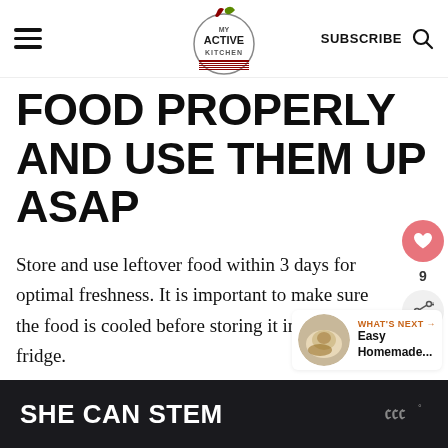[Figure (logo): My Active Kitchen website header with hamburger menu, circular logo, SUBSCRIBE text, and search icon]
FOOD PROPERLY AND USE THEM UP ASAP
Store and use leftover food within 3 days for optimal freshness. It is important to make sure the food is cooled before storing it in the fridge.
[Figure (infographic): What's Next widget showing Easy Homemade... article thumbnail with heart and share buttons]
SHE CAN STEM